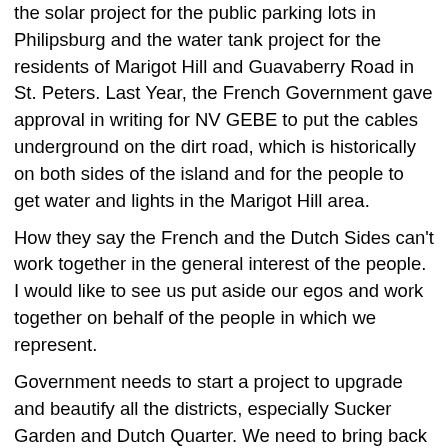the solar project for the public parking lots in Philipsburg and the water tank project for the residents of Marigot Hill and Guavaberry Road in St. Peters. Last Year, the French Government gave approval in writing for NV GEBE to put the cables underground on the dirt road, which is historically on both sides of the island and for the people to get water and lights in the Marigot Hill area.
How they say the French and the Dutch Sides can't work together in the general interest of the people. I would like to see us put aside our egos and work together on behalf of the people in which we represent.
Government needs to start a project to upgrade and beautify all the districts, especially Sucker Garden and Dutch Quarter. We need to bring back that pride within the different districts and revitalize some of the dormant Community Councils.
I also would like to see the University of St. Martin being recognized as our National University with dormitories and for Government to increase their subsidy. I am still amazed on how